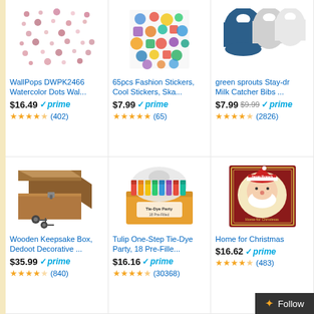[Figure (screenshot): Amazon product grid showing 6 products: WallPops Watercolor Dots, 65pcs Fashion Stickers, green sprouts Bibs, Wooden Keepsake Box, Tulip Tie-Dye Party, Home for Christmas book]
WallPops DWPK2466 Watercolor Dots Wal...
$16.49 prime (402)
65pcs Fashion Stickers, Cool Stickers, Ska...
$7.99 prime (65)
green sprouts Stay-dry Milk Catcher Bibs ...
$7.99 $9.99 prime (2826)
Wooden Keepsake Box, Dedoot Decorative ...
$35.99 prime (840)
Tulip One-Step Tie-Dye Party, 18 Pre-Fille...
$16.16 prime (30368)
Home for Christmas
$16.62 prime (483)